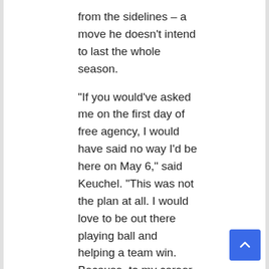from the sidelines – a move he doesn't intend to last the whole season.
“If you would’ve asked me on the first day of free agency, I would have said no way I’d be here on May 6,” said Keuchel. “This was not the plan at all. I would love to be out there playing ball and helping a team win. Because, to my career at this point, I’ve done more winning than I have losing and at a much higher clip. So what team wouldn’t want me to be out there? Am I the best at this point in time? No. But am I more than or better than some of the offers I’ve been given? Absolutely.
"That's not me being greedy. That's just my compensation in the market from what the